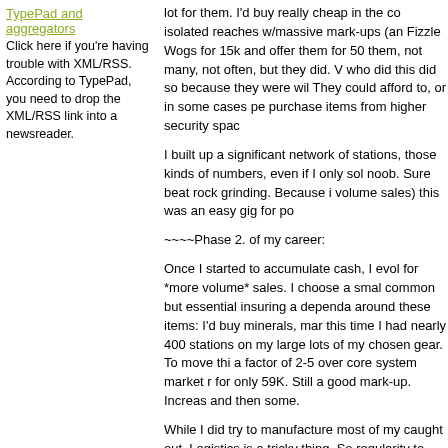TypePad and aggregators
Click here if you're having trouble with XML/RSS. According to TypePad, you need to drop the XML/RSS link into a newsreader.
lot for them. I'd buy really cheap in the co isolated reaches w/massive mark-ups (an Fizzle Wogs for 15k and offer them for 50 them, not many, not often, but they did. V who did this did so because they were wil They could afford to, or in some cases pe purchase items from higher security spac
I built up a significant network of stations, those kinds of numbers, even if I only sol noob. Sure beat rock grinding. Because i volume sales) this was an easy gig for po
~~~~Phase 2. of my career:
Once I started to accumulate cash, I evol for *more volume* sales. I choose a smal common but essential insuring a dependa around these items: I'd buy minerals, mar this time I had nearly 400 stations on my large lots of my chosen gear. To move thi a factor of 2-5 over core system market r for only 59K. Still a good mark-up. Increas and then some.
While I did try to manufacture most of my caught out. Logistics is a tricky thing. So regularity to spot shortfalls. It is fascinatin volume, low margin gig" They might have an epsilon above costs. Maybe they are c different...